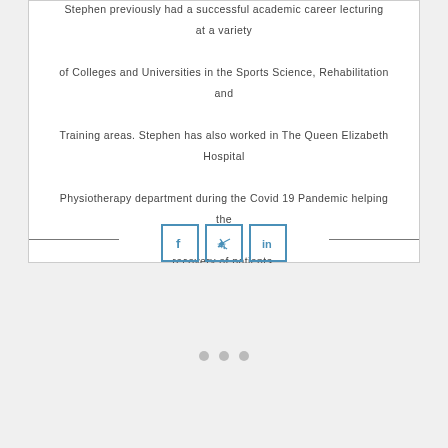focus are back pain issues and hip and knee replacement rehabilitation. Stephen previously had a successful academic career lecturing at a variety of Colleges and Universities in the Sports Science, Rehabilitation and Training areas. Stephen has also worked in The Queen Elizabeth Hospital Physiotherapy department during the Covid 19 Pandemic helping the recovery of patients.
[Figure (other): Social media share buttons: Facebook (f), Twitter (bird), LinkedIn (in), styled as square bordered icons in blue. Flanked by horizontal divider lines on each side.]
[Figure (other): Three grey circular pagination dots centered in the lower white space.]